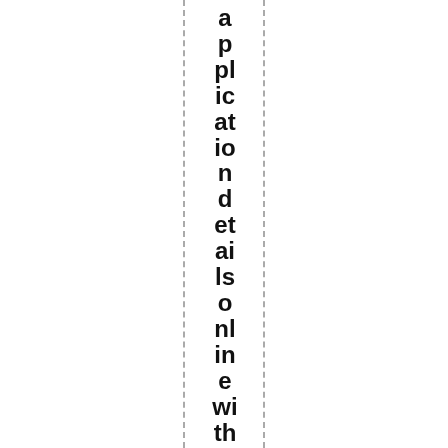application details online within a timely manner. W